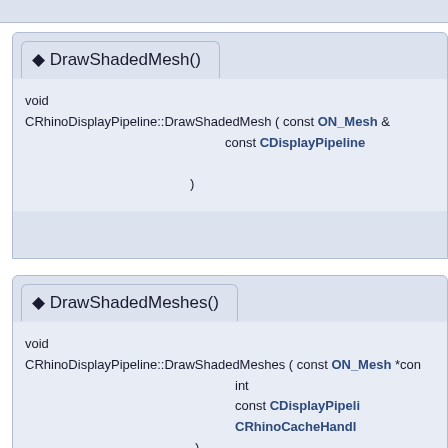DrawShadedMesh()
void
CRhinoDisplayPipeline::DrawShadedMesh ( const ON_Mesh &
                                           const CDisplayPipeline
                                         )
DrawShadedMeshes()
void
CRhinoDisplayPipeline::DrawShadedMeshes ( const ON_Mesh *con
                                            int
                                            const CDisplayPipeli
                                            CRhinoCacheHandle
                                          )